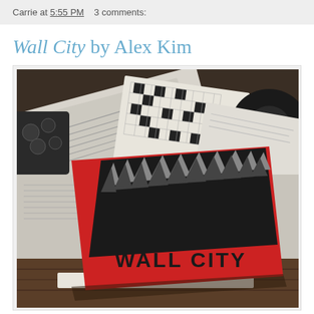Carrie at 5:55 PM   3 comments:
Wall City by Alex Kim
[Figure (photo): A red book titled 'WALL CITY' by Alex Kim resting on top of scattered newspapers and magazines on a wooden surface. The book cover features a bold black graphic design of jagged angular shapes resembling a city skyline or wall, with the title 'WALL CITY' printed in block letters at the bottom.]